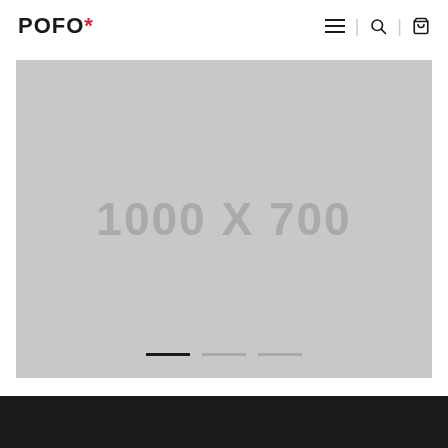POFO*
[Figure (screenshot): Gray placeholder image area showing '1000 X 700' text with slider navigation dots at the bottom (one dark active dot and two lighter dots)]